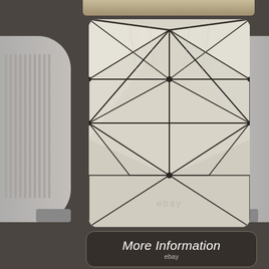[Figure (photo): Interior view of a canopy or tent looking up at the white fabric roof panels supported by a dark metal frame structure with cross-bracing. An eBay watermark is visible on the image.]
More Information
ebay
View Price
ebay